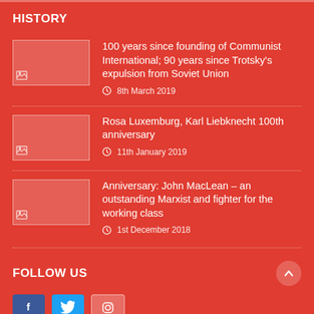HISTORY
100 years since founding of Communist International; 90 years since Trotsky's expulsion from Soviet Union
8th March 2019
Rosa Luxemburg, Karl Liebknecht 100th anniversary
11th January 2019
Anniversary: John MacLean – an outstanding Marxist and fighter for the working class
1st December 2018
FOLLOW US